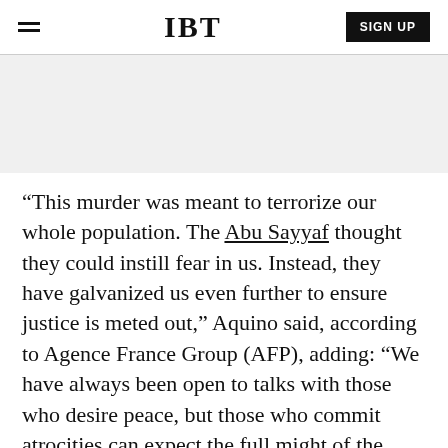IBT | SIGN UP
[Figure (other): Gray advertisement/banner placeholder area]
“This murder was meant to terrorize our whole population. The Abu Sayyaf thought they could instill fear in us. Instead, they have galvanized us even further to ensure justice is meted out,” Aquino said, according to Agence France Group (AFP), adding: “We have always been open to talks with those who desire peace, but those who commit atrocities can expect the full might of the state.”